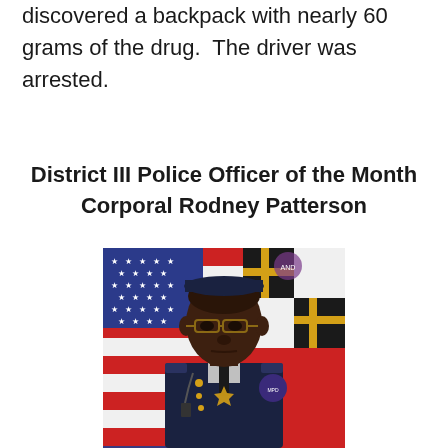discovered a backpack with nearly 60 grams of the drug. The driver was arrested.
District III Police Officer of the Month Corporal Rodney Patterson
[Figure (photo): Official police portrait photo of Corporal Rodney Patterson in dress uniform, posed in front of an American flag and a Maryland/DC flag background.]